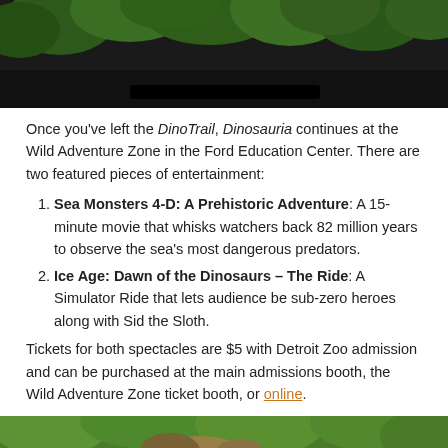[Figure (photo): Top portion of a photo showing tree canopy/forest with dark background, partially cropped at page top]
Once you've left the DinoTrail, Dinosauria continues at the Wild Adventure Zone in the Ford Education Center. There are two featured pieces of entertainment:
Sea Monsters 4-D: A Prehistoric Adventure: A 15-minute movie that whisks watchers back 82 million years to observe the sea's most dangerous predators.
Ice Age: Dawn of the Dinosaurs – The Ride: A Simulator Ride that lets audience be sub-zero heroes along with Sid the Sloth.
Tickets for both spectacles are $5 with Detroit Zoo admission and can be purchased at the main admissions booth, the Wild Adventure Zone ticket booth, or online.
[Figure (photo): Bottom photo showing a dinosaur sculpture/animatronic among green trees in an outdoor zoo setting]